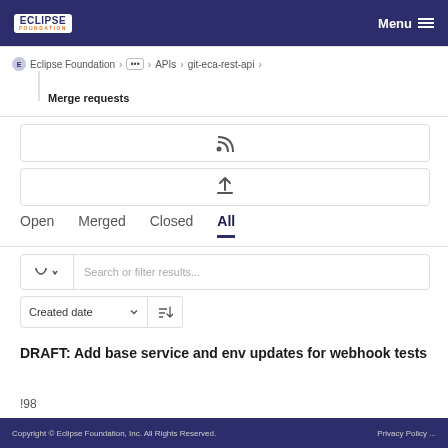Eclipse Foundation  Menu
Eclipse Foundation > ... > APIs > git-eca-rest-api >
Merge requests
[Figure (screenshot): RSS/feed icon button bar]
[Figure (screenshot): Upload/export icon button bar]
Open  Merged  Closed  All (active tab)
Search or filter results...
Created date  sort button
DRAFT: Add base service and env updates for webhook tests
!98
Copyright © Eclipse Foundation, Inc. All Rights Reserved.  Privacy Policy ...